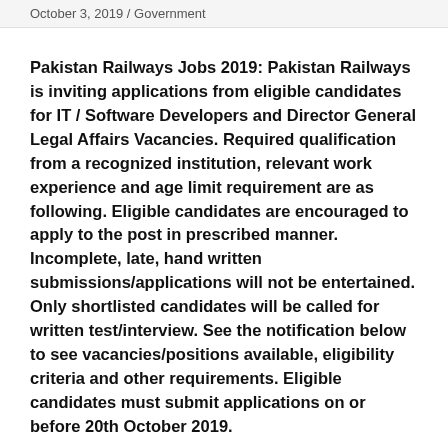October 3, 2019 / Government
Pakistan Railways Jobs 2019: Pakistan Railways is inviting applications from eligible candidates for IT / Software Developers and Director General Legal Affairs Vacancies. Required qualification from a recognized institution, relevant work experience and age limit requirement are as following. Eligible candidates are encouraged to apply to the post in prescribed manner. Incomplete, late, hand written submissions/applications will not be entertained. Only shortlisted candidates will be called for written test/interview. See the notification below to see vacancies/positions available, eligibility criteria and other requirements. Eligible candidates must submit applications on or before 20th October 2019.